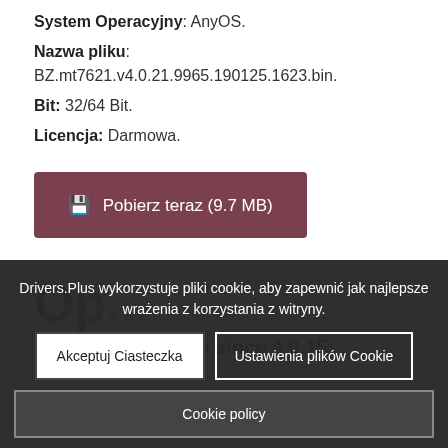System Operacyjny: AnyOS.
Nazwa pliku: BZ.mt7621.v4.0.21.9965.190125.1623.bin.
Bit: 32/64 Bit.
Licencja: Darmowa.
[Figure (other): Download button: Pobierz teraz (9.7 MB) with download icon, dark red/maroon background]
Drivers.Plus wykorzystuje pliki cookie, aby zapewnić jak najlepsze wrażenia z korzystania z witryny.
Akceptuj Ciasteczka
Ustawienia plików Cookie
Cookie policy
Op...
Firmware changes since 4.0.15: